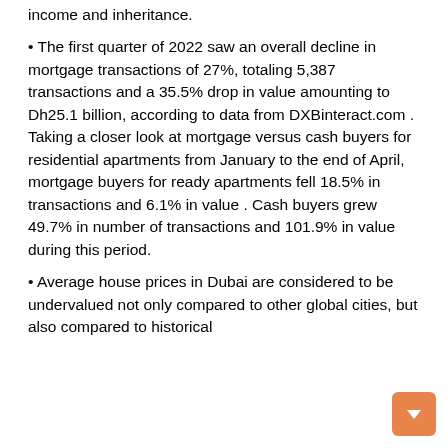income and inheritance.
• The first quarter of 2022 saw an overall decline in mortgage transactions of 27%, totaling 5,387 transactions and a 35.5% drop in value amounting to Dh25.1 billion, according to data from DXBinteract.com . Taking a closer look at mortgage versus cash buyers for residential apartments from January to the end of April, mortgage buyers for ready apartments fell 18.5% in transactions and 6.1% in value . Cash buyers grew 49.7% in number of transactions and 101.9% in value during this period.
• Average house prices in Dubai are considered to be undervalued not only compared to other global cities, but also compared to historical